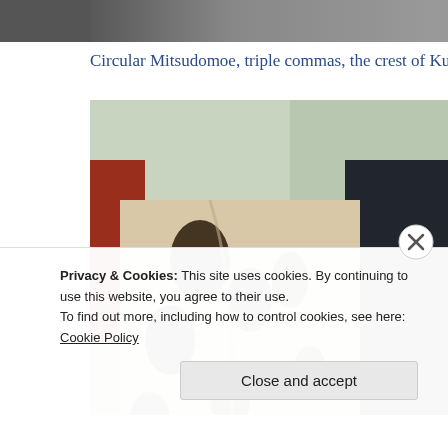[Figure (photo): Top portion of a dark/grey photograph, partially visible at the top of the page]
Circular Mitsudomoe, triple commas, the crest of Kumano Jinja
[Figure (photo): Photo of ceremonial robes or fabric with black calligraphy/brushwork on cream/beige background, hanging on a rack, with dark garment on right, red garment peeking through, and greenery/window visible in background]
Privacy & Cookies: This site uses cookies. By continuing to use this website, you agree to their use.
To find out more, including how to control cookies, see here: Cookie Policy
Close and accept